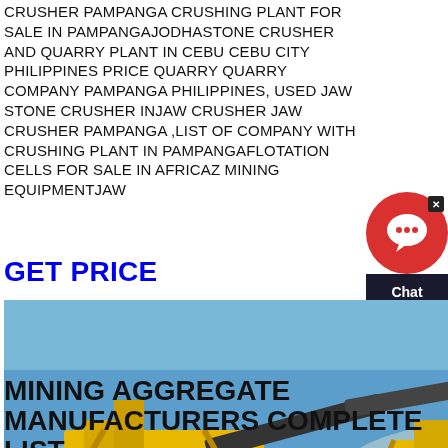CRUSHER PAMPANGA CRUSHING PLANT FOR SALE IN PAMPANGAJODHASTONE CRUSHER AND QUARRY PLANT IN CEBU CEBU CITY PHILIPPINES PRICE QUARRY QUARRY COMPANY PAMPANGA PHILIPPINES, USED JAW STONE CRUSHER INJAW CRUSHER JAW CRUSHER PAMPANGA ,LIST OF COMPANY WITH CRUSHING PLANT IN PAMPANGAFLOTATION CELLS FOR SALE IN AFRICAZ MINING EQUIPMENTJAW
GET PRICE
[Figure (photo): Yellow industrial crushing plant / mining equipment on a worksite with blue sky in background]
MINING AGGREGATE MANUFACTURERS COMPLETE LIST